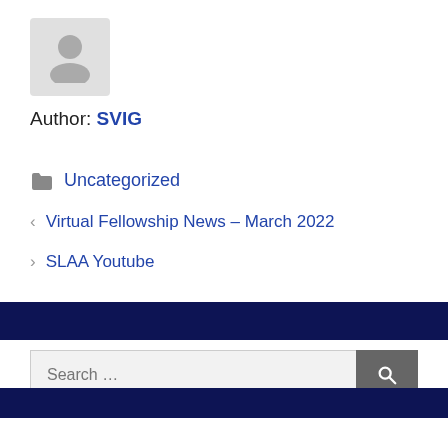[Figure (illustration): Generic user avatar placeholder — grey silhouette of a person on a light grey background]
Author: SVIG
Uncategorized
< Virtual Fellowship News – March 2022
> SLAA Youtube
[Figure (other): Dark navy horizontal bar (page divider)]
Search ...
[Figure (other): Dark navy horizontal bar (page footer divider)]